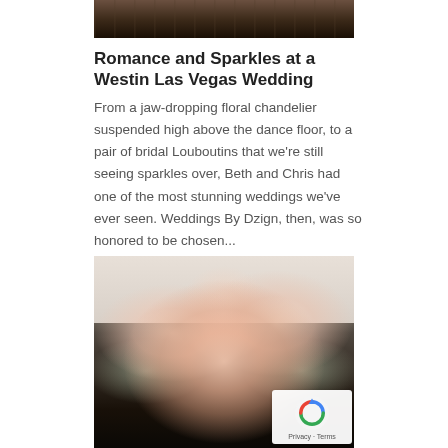[Figure (photo): Top portion of a wedding photo showing people in formal attire, dark background]
Romance and Sparkles at a Westin Las Vegas Wedding
From a jaw-dropping floral chandelier suspended high above the dance floor, to a pair of bridal Louboutins that we're still seeing sparkles over, Beth and Chris had one of the most stunning weddings we've ever seen. Weddings By Dzign, then, was so honored to be chosen...
[Figure (photo): Close-up photo of a wedding flower bouquet with peach and white roses, eucalyptus greenery, and other flowers on a light linen background, with a reCAPTCHA badge overlay in the bottom right]